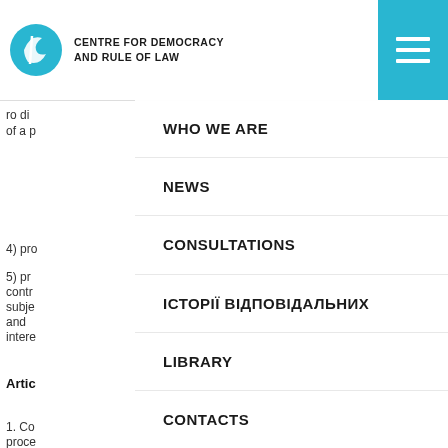CENTRE FOR DEMOCRACY AND RULE OF LAW
4) pro
5) pr contr subje and intere
Article
1. Co proce inform
WHO WE ARE
NEWS
CONSULTATIONS
ІСТОРІЇ ВІДПОВІДАЛЬНИХ
LIBRARY
CONTACTS